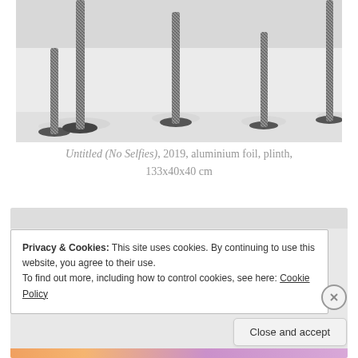[Figure (photo): Black and white photograph showing multiple tall aluminium foil sculpture pieces standing on round bases on a flat white surface, photographed from above at an angle.]
Untitled (No Selfies), 2019, aluminium foil, plinth, 133x40x40 cm
Privacy & Cookies: This site uses cookies. By continuing to use this website, you agree to their use.
To find out more, including how to control cookies, see here: Cookie Policy
Close and accept